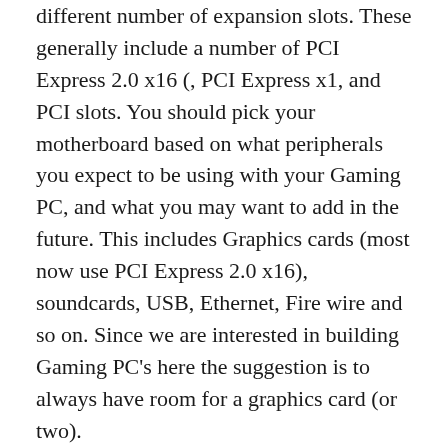different number of expansion slots. These generally include a number of PCI Express 2.0 x16 (, PCI Express x1, and PCI slots. You should pick your motherboard based on what peripherals you expect to be using with your Gaming PC, and what you may want to add in the future. This includes Graphics cards (most now use PCI Express 2.0 x16), soundcards, USB, Ethernet, Fire wire and so on. Since we are interested in building Gaming PC's here the suggestion is to always have room for a graphics card (or two).
Desktop motherboard will generally support a number of storage device connectors like SATA (serial ATA) or PATA (Parallel ATA) to connect hard drives and optical drives. This will be important to know what types and how many of each the